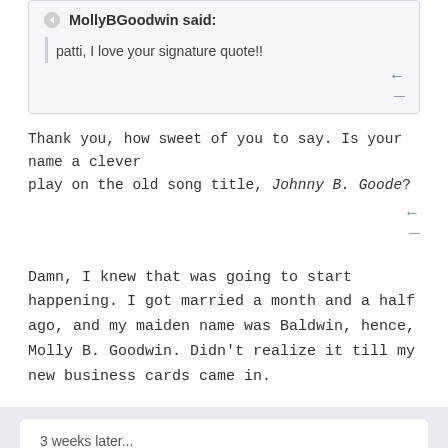MollyBGoodwin said:
patti, I love your signature quote!!
Thank you, how sweet of you to say. Is your name a clever play on the old song title, Johnny B. Goode?
Damn, I knew that was going to start happening. I got married a month and a half ago, and my maiden name was Baldwin, hence, Molly B. Goodwin. Didn't realize it till my new business cards came in.
3 weeks later...
highchef
Posted November 8, 2004